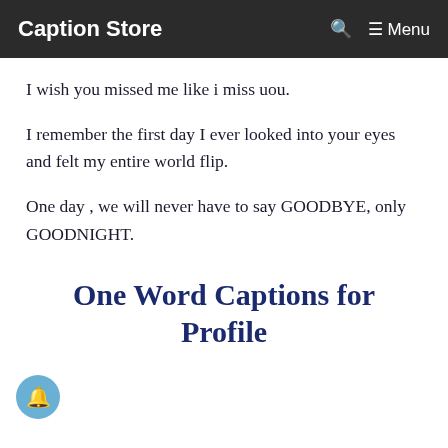Caption Store   🔍   ☰ Menu
I wish you missed me like i miss uou.
I remember the first day I ever looked into your eyes and felt my entire world flip.
One day , we will never have to say GOODBYE, only GOODNIGHT.
One Word Captions for Profile